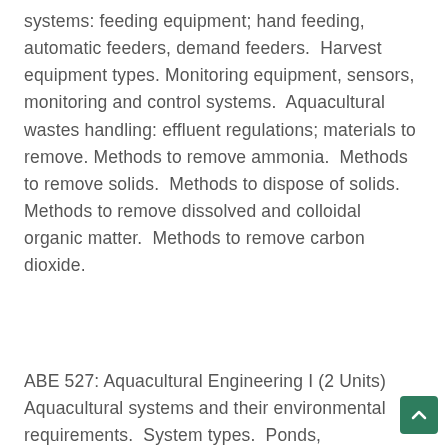systems: feeding equipment; hand feeding, automatic feeders, demand feeders.  Harvest equipment types. Monitoring equipment, sensors, monitoring and control systems.  Aquacultural wastes handling: effluent regulations; materials to remove. Methods to remove ammonia.  Methods to remove solids.  Methods to dispose of solids.  Methods to remove dissolved and colloidal organic matter.  Methods to remove carbon dioxide.
ABE 527: Aquacultural Engineering I (2 Units) Aquacultural systems and their environmental requirements.  System types.  Ponds, raceways, net pens and cages, tanks and re-circulating systems.  Primary constraints in aquacultural